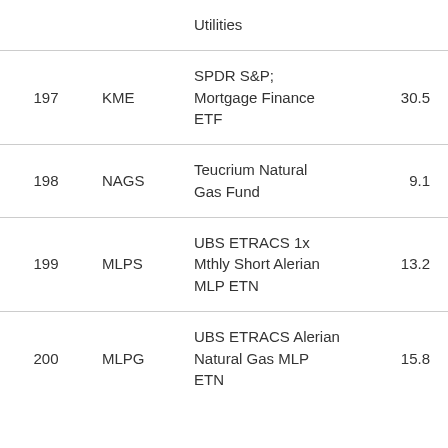|  |  | Utilities |  |
| 197 | KME | SPDR S&P; Mortgage Finance ETF | 30.5 |
| 198 | NAGS | Teucrium Natural Gas Fund | 9.1 |
| 199 | MLPS | UBS ETRACS 1x Mthly Short Alerian MLP ETN | 13.2 |
| 200 | MLPG | UBS ETRACS Alerian Natural Gas MLP ETN | 15.8 |